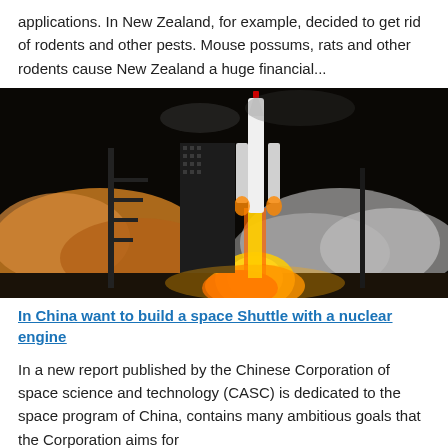applications. In New Zealand, for example, decided to get rid of rodents and other pests. Mouse possums, rats and other rodents cause New Zealand a huge financial...
[Figure (photo): Nighttime rocket launch with bright orange flames and smoke billowing at the base, a white rocket ascending against a dark sky with launch tower structure visible.]
In China want to build a space Shuttle with a nuclear engine
In a new report published by the Chinese Corporation of space science and technology (CASC) is dedicated to the space program of China, contains many ambitious goals that the Corporation aims for